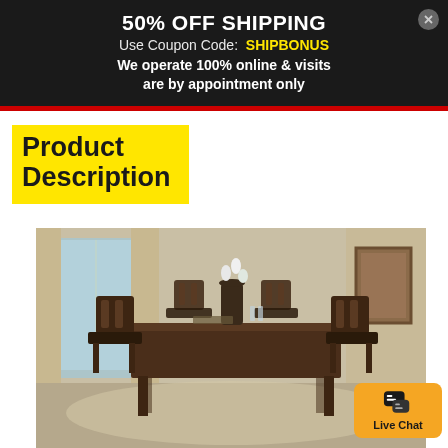50% OFF SHIPPING
Use Coupon Code: SHIPBONUS
We operate 100% online & visits are by appointment only
Product Description
[Figure (photo): A 5-piece dark brown wooden counter-height dining set with a rectangular table and four tall bar-style chairs with upholstered seats, styled in a bright room with curtains and a floral centerpiece.]
Live Chat